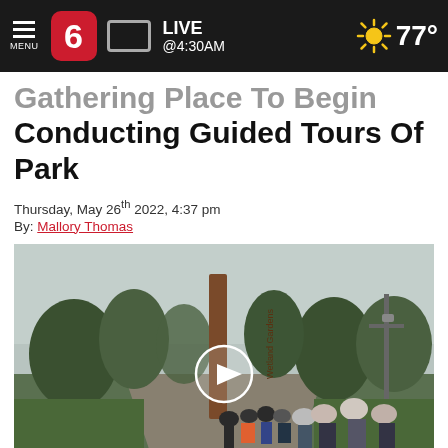MENU | 6 | LIVE @4:30AM | 77°
Gathering Place To Begin Conducting Guided Tours Of Park
Thursday, May 26th 2022, 4:37 pm
By: Mallory Thomas
[Figure (photo): People walking along a path at a park, with a vertical sign reading 'Wetland Gardens', trees and greenery visible, overcast sky, video play button overlay in center]